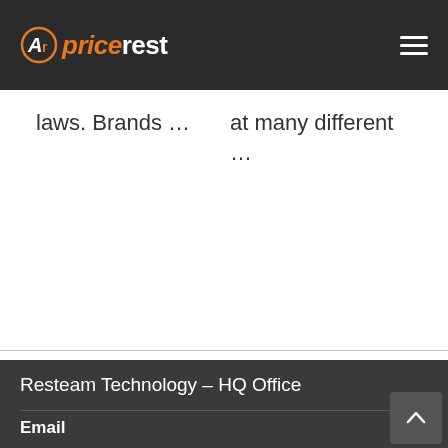pricerest
laws. Brands …
at many different …
Resteam Technology – HQ Office
Email